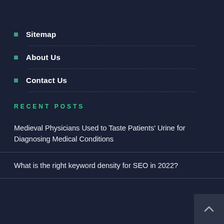Sitemap
About Us
Contact Us
RECENT POSTS
Medieval Physicians Used to Taste Patients' Urine for Diagnosing Medical Conditions
What is the right keyword density for SEO in 2022?